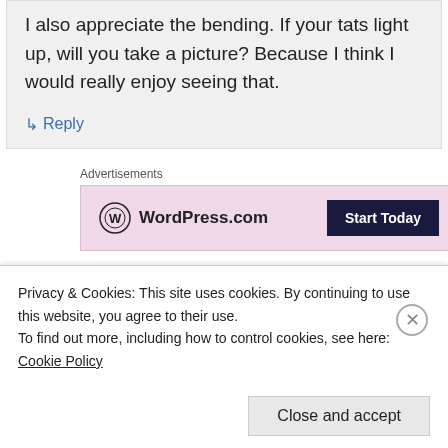I also appreciate the bending. If your tats light up, will you take a picture? Because I think I would really enjoy seeing that.
↳ Reply
Advertisements
[Figure (screenshot): WordPress.com advertisement banner with pink background showing WordPress.com logo and 'Start Today' dark button]
Carly on May 31, 2012 at 3:33 pm
Privacy & Cookies: This site uses cookies. By continuing to use this website, you agree to their use.
To find out more, including how to control cookies, see here: Cookie Policy
Close and accept